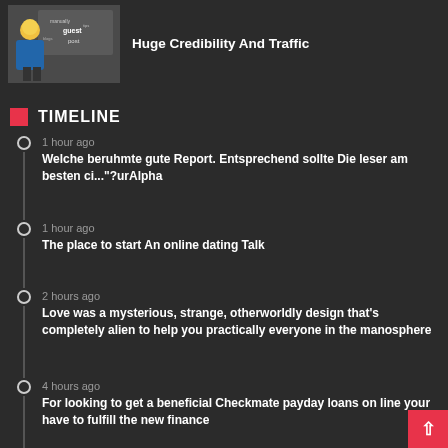[Figure (illustration): Guest post themed illustration with a person figure and word cloud]
Huge Credibility And Traffic
TIMELINE
1 hour ago – Welche beruhmte gute Report. Entsprechend sollte Die leser am besten ci..."?urAlpha
1 hour ago – The place to start An online dating Talk
2 hours ago – Love was a mysterious, strange, otherworldly design that's completely alien to help you practically everyone in the manosphere
4 hours ago – For looking to get a beneficial Checkmate payday loans on line your have to fulfill the new finance
6 hours ago